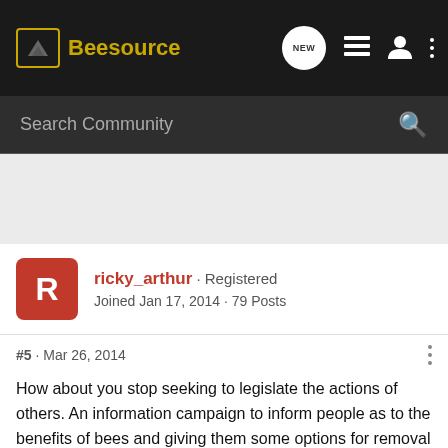Beesource
Search Community
[Figure (other): Advertisement / empty gray area]
ricky_arthur · Registered
Joined Jan 17, 2014 · 79 Posts
#5 · Mar 26, 2014
How about you stop seeking to legislate the actions of others. An information campaign to inform people as to the benefits of bees and giving them some options for removal is a less dictator like approach. You NY people seek to regulate everything from pop to popcorn, and it becomes habit, look at